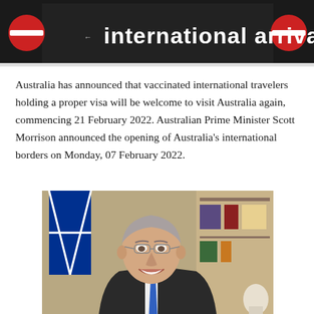[Figure (photo): Airport international arrivals sign with red circular no-entry style badges on either side, dark background with illuminated white text reading 'international arrivals']
Australia has announced that vaccinated international travelers holding a proper visa will be welcome to visit Australia again, commencing 21 February 2022. Australian Prime Minister Scott Morrison announced the opening of Australia's international borders on Monday, 07 February 2022.
[Figure (photo): Portrait photo of Australian Prime Minister Scott Morrison, a middle-aged man with grey hair, wearing glasses and a dark suit with blue tie, smiling, with an Australian flag and bookshelf in the background]